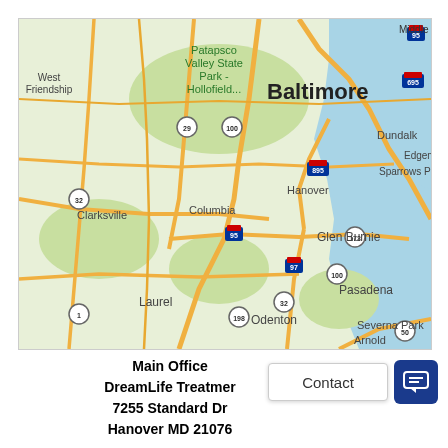[Figure (map): Google Maps view showing the Baltimore, Maryland area including surrounding areas: West Friendship, Patapsco Valley State Park - Hollofield, Baltimore city, Dundalk, Edgemere, Sparrows Point, Clarksville, Columbia, Hanover, Glen Burnie, Pasadena, Severna Park, Arnold, Laurel, Odenton. Major highways visible include I-95, I-695, I-895, I-97, I-29, I-32, Route 100, Route 173, Route 198, Route 50, Route 1.]
Main Office
DreamLife Treatment
7255 Standard Dr
Hanover MD 21076